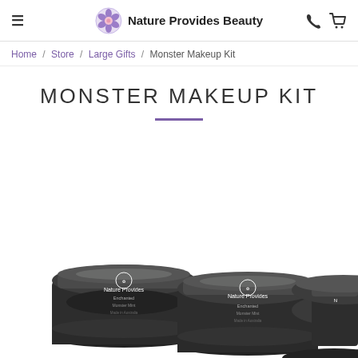Nature Provides Beauty
Home / Store / Large Gifts / Monster Makeup Kit
MONSTER MAKEUP KIT
[Figure (photo): Three dark circular makeup jars with white Nature Provides Beauty branding labels, viewed from above at slight angle, showing gray/silver face paint products]